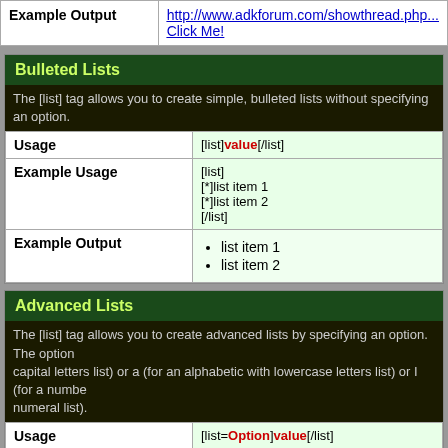| Example Output |  |
| --- | --- |
| Example Output | http://www.adkforum.com/showthread.php...
Click Me! |
Bulleted Lists
The [list] tag allows you to create simple, bulleted lists without specifying an option.
| Usage | [list]value[/list] |
| --- | --- |
| Usage | [list]value[/list] |
| Example Usage | [list]
[*]list item 1
[*]list item 2
[/list] |
| Example Output | • list item 1
• list item 2 |
Advanced Lists
The [list] tag allows you to create advanced lists by specifying an option. The option capital letters list) or a (for an alphabetic with lowercase letters list) or I (for a numeral list).
| Usage | [list=Option]value[/list] |
| --- | --- |
| Usage | [list=Option]value[/list] |
| Example Usage | [list=1]
[*]list item 1
[*]list item 2 |